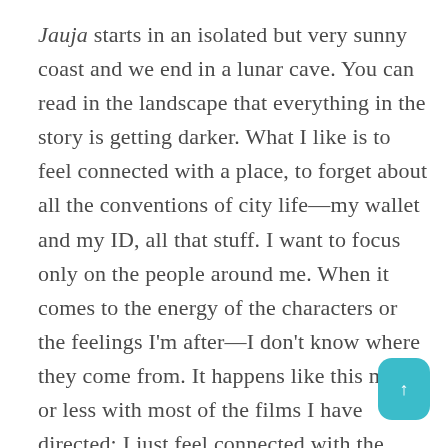Jauja starts in an isolated but very sunny coast and we end in a lunar cave. You can read in the landscape that everything in the story is getting darker. What I like is to feel connected with a place, to forget about all the conventions of city life—my wallet and my ID, all that stuff. I want to focus only on the people around me. When it comes to the energy of the characters or the feelings I'm after—I don't know where they come from. It happens like this more or less with most of the films I have directed: I just feel connected with the person and with the landscape.